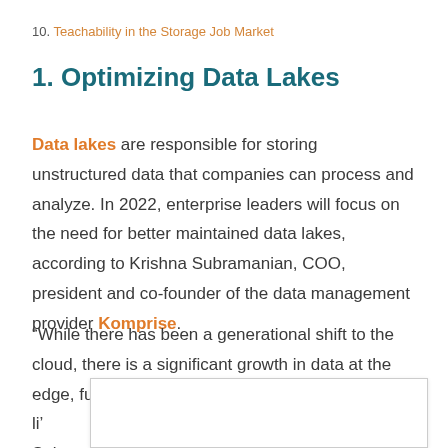10. Teachability in the Storage Job Market
1. Optimizing Data Lakes
Data lakes are responsible for storing unstructured data that companies can process and analyze. In 2022, enterprise leaders will focus on the need for better maintained data lakes, according to Krishna Subramanian, COO, president and co-founder of the data management provider Komprise.
“While there has been a generational shift to the cloud, there is a significant growth in data at the edge, fueled by trends li’ ’oT),” Subram… dge,